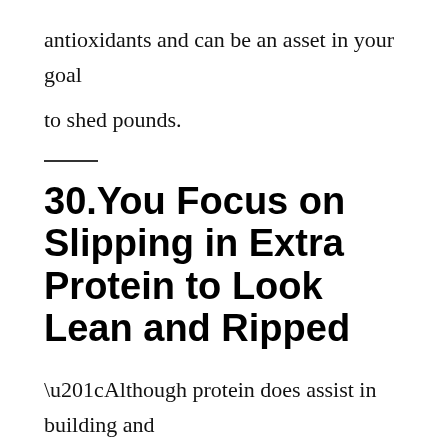antioxidants and can be an asset in your goal to shed pounds.
30.You Focus on Slipping in Extra Protein to Look Lean and Ripped
“Although protein does assist in building and repairing muscles, if you just start adding more protein to your diet without cutting